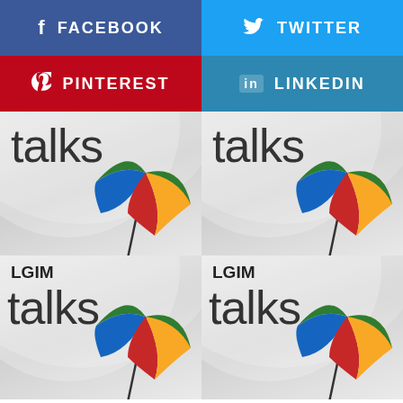[Figure (screenshot): Facebook social share button, blue background with 'f' icon and FACEBOOK text]
[Figure (screenshot): Twitter social share button, light blue background with bird icon and TWITTER text]
[Figure (screenshot): Pinterest social share button, red background with P icon and PINTEREST text]
[Figure (screenshot): LinkedIn social share button, blue background with 'in' icon and LINKEDIN text]
[Figure (logo): LGIM Talks logo partial view - 'talks' text with colorful umbrella icon on grey background]
[Figure (logo): LGIM Talks logo partial view - 'talks' text with colorful umbrella icon on grey background]
[Figure (logo): LGIM Talks full logo - 'LGIM talks' text with colorful umbrella icon on grey background]
[Figure (logo): LGIM Talks full logo - 'LGIM talks' text with colorful umbrella icon on grey background]